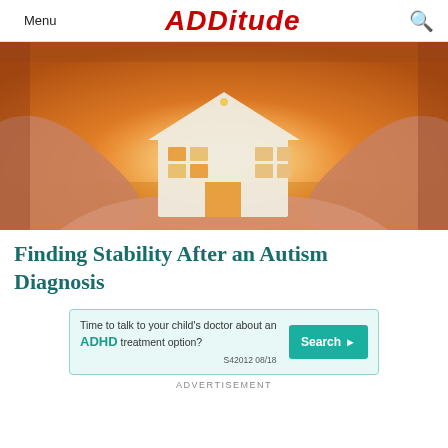Menu | ADDitude | Search
[Figure (photo): Hands forming a house shape around a paper cut-out of a house with windows, backlit by golden sunset light. Warm orange and yellow tones.]
Finding Stability After an Autism Diagnosis
[Figure (infographic): Advertisement banner: 'Time to talk to your child's doctor about an ADHD treatment option?' with a teal Search button and code S42012 08/18]
ADVERTISEMENT